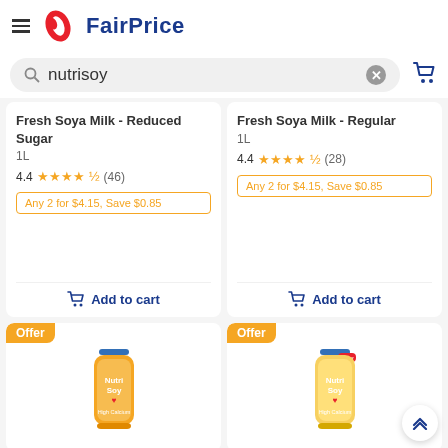FairPrice
nutrisoy
Fresh Soya Milk - Reduced Sugar
1L
4.4 (46)
Any 2 for $4.15, Save $0.85
Add to cart
Fresh Soya Milk - Regular
1L
4.4 (28)
Any 2 for $4.15, Save $0.85
Add to cart
[Figure (screenshot): Two NutriSoy product cards with Offer badge, showing NutriSoy High Calcium soya milk bottles]
Offer
Offer